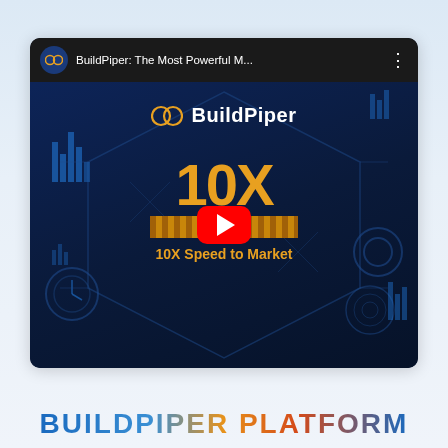[Figure (screenshot): YouTube video thumbnail for 'BuildPiper: The Most Powerful M...' showing a dark blue tech/circuit board background with the BuildPiper logo, a large '10X' text in orange/gold, a horizontal striped bar below it, the text '10X Speed to Market' in orange, and a red YouTube play button in the center.]
BUILDPIPER PLATFORM